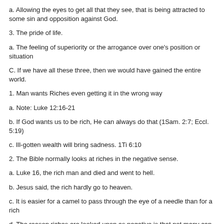a. Allowing the eyes to get all that they see, that is being attracted to some sin and opposition against God.
3. The pride of life.
a. The feeling of superiority or the arrogance over one's position or situation
C. If we have all these three, then we would have gained the entire world.
1. Man wants Riches even getting it in the wrong way
a. Note: Luke 12:16-21
b. If God wants us to be rich, He can always do that (1Sam. 2:7; Eccl. 5:19)
c. Ill-gotten wealth will bring sadness. 1Ti 6:10
2. The Bible normally looks at riches in the negative sense.
a. Luke 16, the rich man and died and went to hell.
b. Jesus said, the rich hardly go to heaven.
c. It is easier for a camel to pass through the eye of a needle than for a rich
d. The reason riches are looked upon as negative is that not many can ha God.
e. You cannot serve God and mammon at the same time.